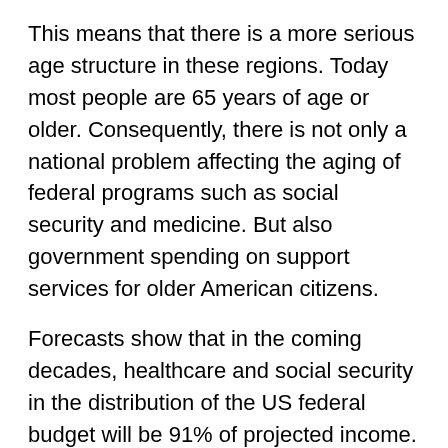This means that there is a more serious age structure in these regions. Today most people are 65 years of age or older. Consequently, there is not only a national problem affecting the aging of federal programs such as social security and medicine. But also government spending on support services for older American citizens.
Forecasts show that in the coming decades, healthcare and social security in the distribution of the US federal budget will be 91% of projected income. Costs for older people will be adjusted.
Also the retirement age may be increased or various benefits reduced, the rest will have to pay higher taxes. So keeping benefits and retirement age at the current level can lead to high taxes for the relatively young generation of the country.
[Figure (logo): Facebook logo — blue circle with white 'f' icon]
This is why people are starting to look at immigration as a